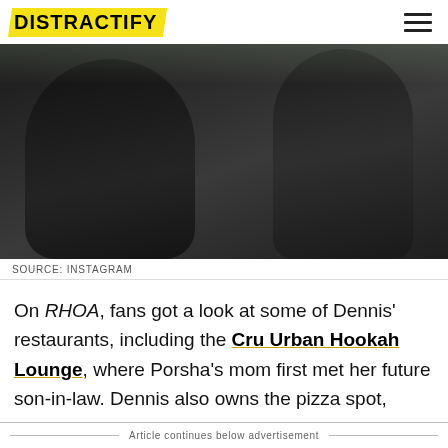DISTRACTIFY
[Figure (photo): Two people dressed in black clothing posing together]
SOURCE: INSTAGRAM
On RHOA, fans got a look at some of Dennis' restaurants, including the Cru Urban Hookah Lounge, where Porsha's mom first met her future son-in-law. Dennis also owns the pizza spot, Slice, and the Original Hot Dog Factory, among others, in the ATL.
Article continues below advertisement